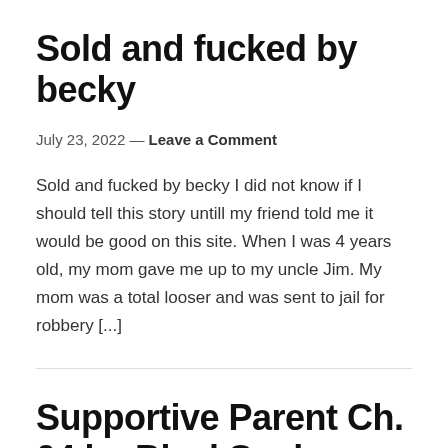Sold and fucked by becky
July 23, 2022 — Leave a Comment
Sold and fucked by becky I did not know if I should tell this story untill my friend told me it would be good on this site. When I was 4 years old, my mom gave me up to my uncle Jim. My mom was a total looser and was sent to jail for robbery [...]
Supportive Parent Ch. 04 by BlackSnake